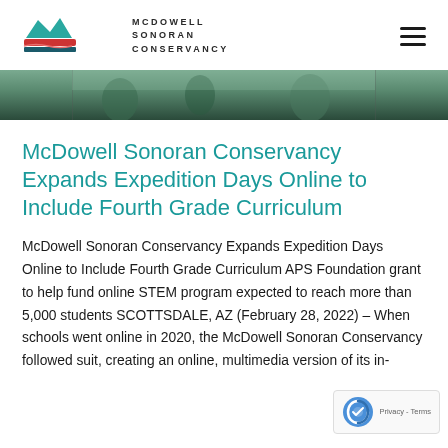[Figure (logo): McDowell Sonoran Conservancy logo with mountain and wave shapes in teal and red, with text MCDOWELL SONORAN CONSERVANCY]
[Figure (photo): Hero image showing people outdoors, partially visible at top of page]
McDowell Sonoran Conservancy Expands Expedition Days Online to Include Fourth Grade Curriculum
McDowell Sonoran Conservancy Expands Expedition Days Online to Include Fourth Grade Curriculum APS Foundation grant to help fund online STEM program expected to reach more than 5,000 students SCOTTSDALE, AZ (February 28, 2022) – When schools went online in 2020, the McDowell Sonoran Conservancy followed suit, creating an online, multimedia version of its in-